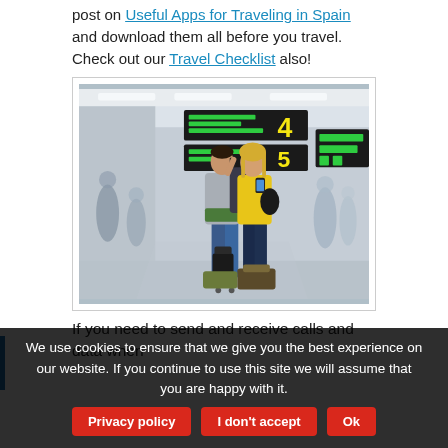post on Useful Apps for Traveling in Spain and download them all before you travel. Check out our Travel Checklist also!
[Figure (photo): Two travelers, a man on his phone and a woman in a yellow jacket looking at her phone, standing with luggage in an airport terminal with departure boards showing 'AEROPUERTO DE PALMA' and 'BIENVENIDOS' in Spanish.]
If you need to send and receive calls and data when
We use cookies to ensure that we give you the best experience on our website. If you continue to use this site we will assume that you are happy with it.